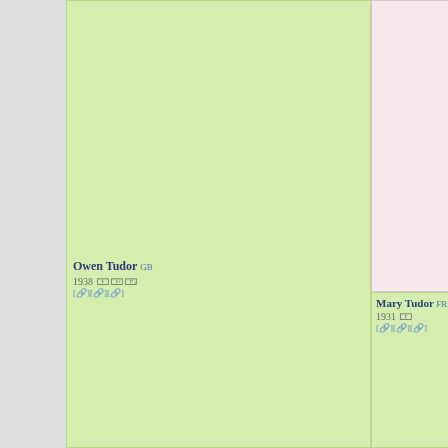[Figure (organizational-chart): Genealogical/pedigree chart showing horse bloodlines. Entries include Owen Tudor GB 1938, Mary Tudor FR 1931, Selene GB 1919, Pharos GB 1920, Anna Bolena FR 1920, and partially visible entries: Sere... 1913, Phal... 1913, Scap... 1914, Tedd... 1913, Quee... 1908.]